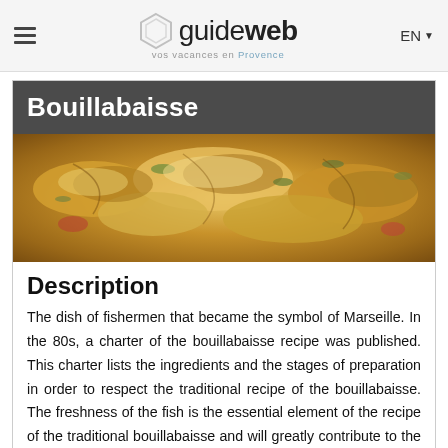guideweb — vos vacances en Provence | EN
Bouillabaisse
[Figure (photo): Close-up photo of bouillabaisse fish dish with herbs and vegetables]
Description
The dish of fishermen that became the symbol of Marseille. In the 80s, a charter of the bouillabaisse recipe was published. This charter lists the ingredients and the stages of preparation in order to respect the traditional recipe of the bouillabaisse. The freshness of the fish is the essential element of the recipe of the traditional bouillabaisse and will greatly contribute to the success of your dish. Would you like to enjoy a